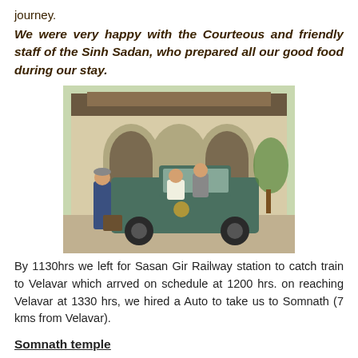journey.
We were very happy with the Courteous and friendly staff of the Sinh Sadan, who prepared all our good food during our stay.
[Figure (photo): Outdoor photo showing people standing beside a green Mahindra jeep/SUV in front of a building with arched entrances. One person stands to the left, others are seated in the vehicle.]
By 1130hrs we left for Sasan Gir Railway station to catch train to Velavar which arrved on schedule at 1200 hrs. on reaching Velavar at 1330 hrs, we hired a Auto to take us to Somnath (7 kms from Velavar).
Somnath temple